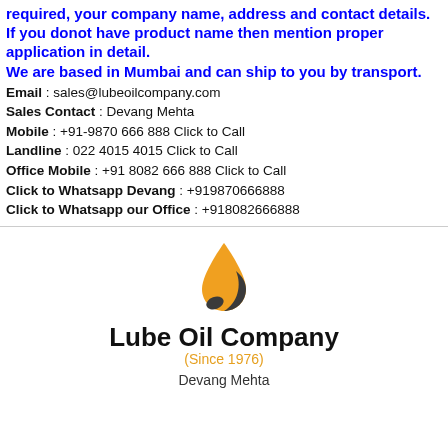required, your company name, address and contact details. If you donot have product name then mention proper application in detail. We are based in Mumbai and can ship to you by transport.
Email : sales@lubeoilcompany.com
Sales Contact : Devang Mehta
Mobile : +91-9870 666 888 Click to Call
Landline : 022 4015 4015 Click to Call
Office Mobile : +91 8082 666 888 Click to Call
Click to Whatsapp Devang : +919870666888
Click to Whatsapp our Office : +918082666888
[Figure (logo): Lube Oil Company logo with oil drop graphic, company name in bold black, (Since 1976) in orange, and Devang Mehta text below]